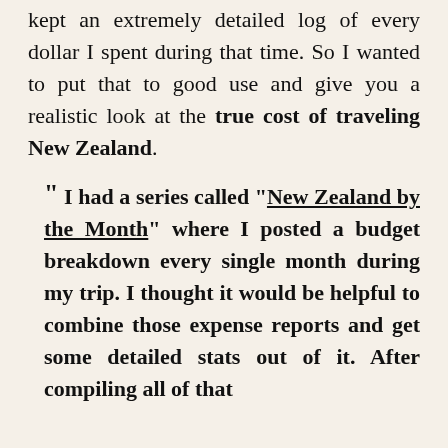kept an extremely detailed log of every dollar I spent during that time. So I wanted to put that to good use and give you a realistic look at the true cost of traveling New Zealand.
“ I had a series called “New Zealand by the Month” where I posted a budget breakdown every single month during my trip. I thought it would be helpful to combine those expense reports and get some detailed stats out of it. After compiling all of that